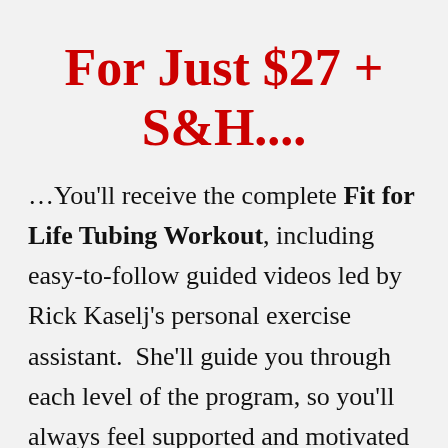For Just $27 + S&H....
…You'll receive the complete Fit for Life Tubing Workout, including easy-to-follow guided videos led by Rick Kaselj's personal exercise assistant.  She'll guide you through each level of the program, so you'll always feel supported and motivated while you learn the reflexive movements.